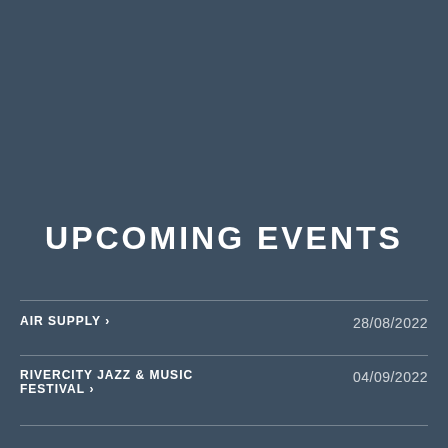UPCOMING EVENTS
AIR SUPPLY ›  28/08/2022
RIVERCITY JAZZ & MUSIC FESTIVAL ›  04/09/2022